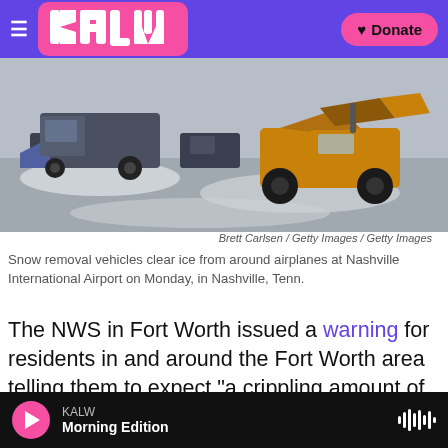KALW | Donate
[Figure (photo): Snow removal vehicles including a front loader clearing ice and snow from an airport tarmac area, likely Nashville International Airport]
Brett Carlsen / Getty Images / Getty Images
Snow removal vehicles clear ice from around airplanes at Nashville International Airport on Monday, in Nashville, Tenn.
The NWS in Fort Worth issued a warning for residents in and around the Fort Worth area telling them to expect "a crippling amount of ice and sleet."
KALW Morning Edition